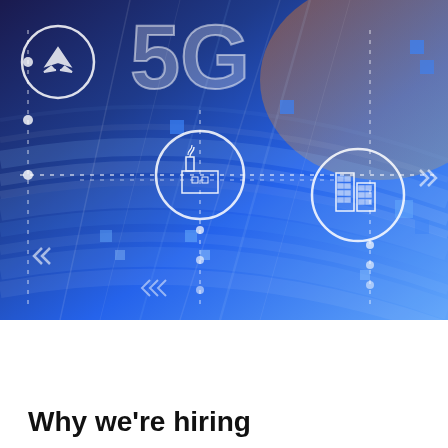[Figure (photo): A high-speed motion-blur photo of a road or tunnel with blue and purple light streaks, overlaid with 5G technology icons including circles with airplane, factory building, and city building icons, dotted connection lines, and the large '5G' text in the center-top area.]
Why we're hiring